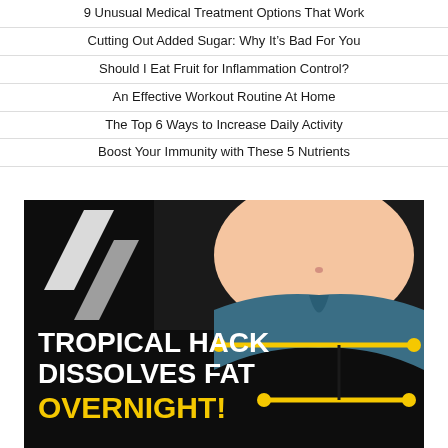9 Unusual Medical Treatment Options That Work
Cutting Out Added Sugar: Why It's Bad For You
Should I Eat Fruit for Inflammation Control?
An Effective Workout Routine At Home
The Top 6 Ways to Increase Daily Activity
Boost Your Immunity with These 5 Nutrients
[Figure (illustration): Promotional image with dark background and purple accent. Shows a torso in a teal bikini bottom with yellow measuring-tape graphic lines crossing the midsection. Bold white text reads 'TROPICAL HACK DISSOLVES FAT' and yellow bold text reads 'OVERNIGHT!']